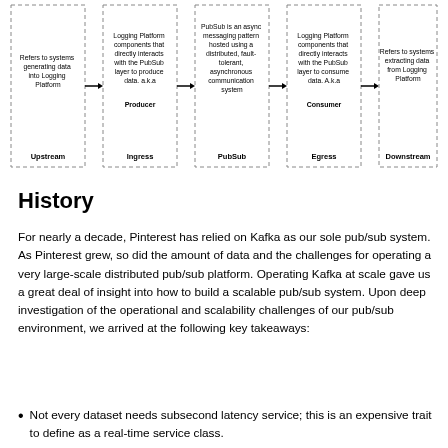[Figure (flowchart): A horizontal flowchart showing five dashed-border boxes connected by arrows: Upstream → Ingress → PubSub → Egress → Downstream. Each box contains a description text and a label at the bottom. Upstream: 'Refers to systems generating data into Logging Platform'. Ingress: 'Logging Platform components that directly interacts with the PubSub layer to produce data. a.k.a Producer'. PubSub: 'PubSub is an async messaging pattern hosted using a distributed, fault-tolerant, asynchronous communication system'. Egress: 'Logging Platform components that directly interacts with the PubSub layer to consume data. A.k.a Consumer'. Downstream: 'Refers to systems extracting data from Logging Platform'.]
History
For nearly a decade, Pinterest has relied on Kafka as our sole pub/sub system. As Pinterest grew, so did the amount of data and the challenges for operating a very large-scale distributed pub/sub platform. Operating Kafka at scale gave us a great deal of insight into how to build a scalable pub/sub system. Upon deep investigation of the operational and scalability challenges of our pub/sub environment, we arrived at the following key takeaways:
Not every dataset needs subsecond latency service; this is an expensive trait to define as a real-time service class.